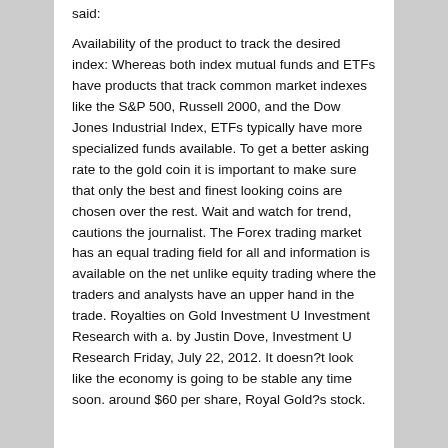said:
Availability of the product to track the desired index: Whereas both index mutual funds and ETFs have products that track common market indexes like the S&P 500, Russell 2000, and the Dow Jones Industrial Index, ETFs typically have more specialized funds available. To get a better asking rate to the gold coin it is important to make sure that only the best and finest looking coins are chosen over the rest. Wait and watch for trend, cautions the journalist. The Forex trading market has an equal trading field for all and information is available on the net unlike equity trading where the traders and analysts have an upper hand in the trade. Royalties on Gold Investment U Investment Research with a. by Justin Dove, Investment U Research Friday, July 22, 2012. It doesn?t look like the economy is going to be stable any time soon. around $60 per share, Royal Gold?s stock.